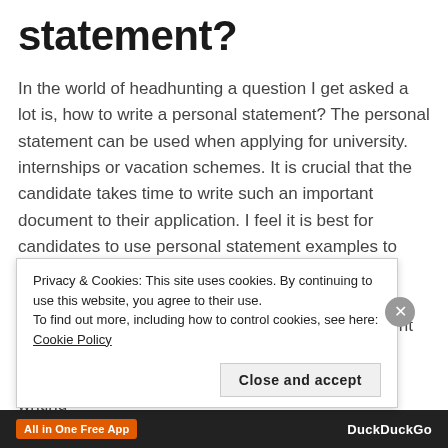statement?
In the world of headhunting a question I get asked a lot is, how to write a personal statement? The personal statement can be used when applying for university. internships or vacation schemes. It is crucial that the candidate takes time to write such an important document to their application. I feel it is best for candidates to use personal statement examples to give them a template and guide when writing their personal statement. Candidates can base their application on the very important personal statement format from these examples to achieve the best results. Why is the CV useful to a candidate when writing...
Privacy & Cookies: This site uses cookies. By continuing to use this website, you agree to their use.
To find out more, including how to control cookies, see here: Cookie Policy
Close and accept
All in One Free App   DuckDuckGo